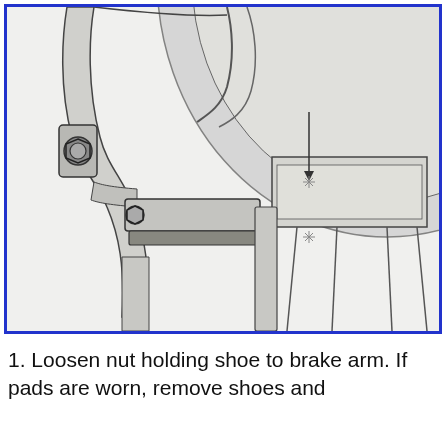[Figure (engineering-diagram): Technical illustration of a bicycle brake assembly. Shows a close-up view of a brake shoe held against a brake arm by a nut. Two asterisk/star indicators point to the contact area between the brake pad/shoe and the rim. The brake arm, shoe, bolt, and nut components are clearly depicted in a line-drawing style with gray shading.]
1. Loosen nut holding shoe to brake arm. If pads are worn, remove shoes and